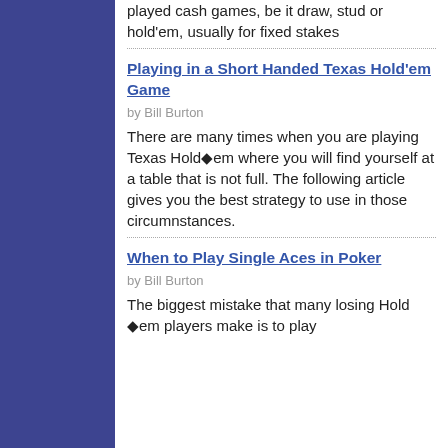played cash games, be it draw, stud or hold'em, usually for fixed stakes
Playing in a Short Handed Texas Hold'em Game
by Bill Burton
There are many times when you are playing Texas Hold�em where you will find yourself at a table that is not full. The following article gives you the best strategy to use in those circumnstances.
When to Play Single Aces in Poker
by Bill Burton
The biggest mistake that many losing Hold �em players make is to play